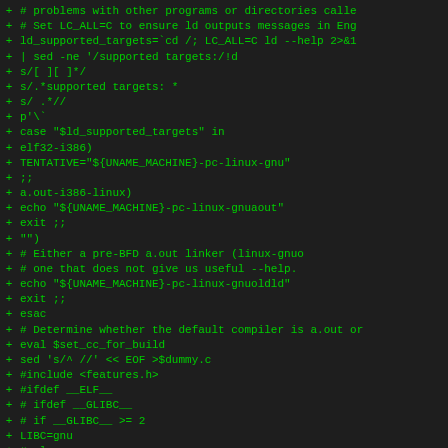[Figure (screenshot): Diff output of shell script code showing lines prefixed with '+' in green monospace font on dark background. Code includes shell scripting for ld_supported_targets, case statements, and preprocessor directives.]